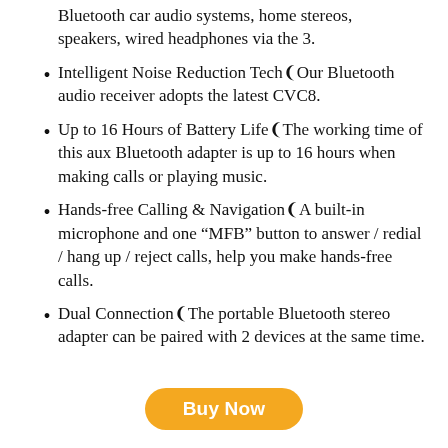Bluetooth car audio systems, home stereos, speakers, wired headphones via the 3.
Intelligent Noise Reduction Tech【Our Bluetooth audio receiver adopts the latest CVC8.
Up to 16 Hours of Battery Life【The working time of this aux Bluetooth adapter is up to 16 hours when making calls or playing music.
Hands-free Calling & Navigation【A built-in microphone and one “MFB” button to answer / redial / hang up / reject calls, help you make hands-free calls.
Dual Connection【The portable Bluetooth stereo adapter can be paired with 2 devices at the same time.
Buy Now